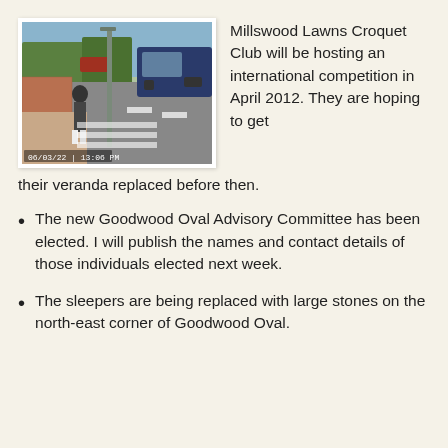[Figure (photo): A person standing on a roadside footpath next to a lamppost. The street shows a road with a van passing, red brick pavement area, trees in background. Timestamp reads 06/03/22 | 13:06 PM visible in lower left.]
Millswood Lawns Croquet Club will be hosting an international competition in April 2012. They are hoping to get their veranda replaced before then.
The new Goodwood Oval Advisory Committee has been elected. I will publish the names and contact details of those individuals elected next week.
The sleepers are being replaced with large stones on the north-east corner of Goodwood Oval.